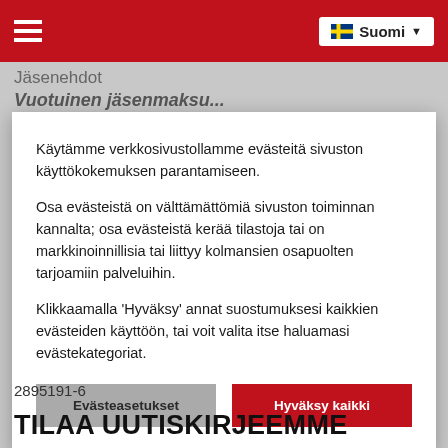≡  Suomi ▼
Jäsenehdot
Vuotuinen jäsenmaksu...
Käytämme verkkosivustollamme evästeitä sivuston käyttökokemuksen parantamiseen.

Osa evästeistä on välttämättömiä sivuston toiminnan kannalta; osa evästeistä kerää tilastoja tai on markkinoinnillisia tai liittyy kolmansien osapuolten tarjoamiin palveluihin.

Klikkaamalla 'Hyväksy' annat suostumuksesi kaikkien evästeiden käyttöön, tai voit valita itse haluamasi evästekategoriat.
Evästeasetukset
Hyväksy kaikki
2895191-6
TILAA UUTISKIRJEEMME